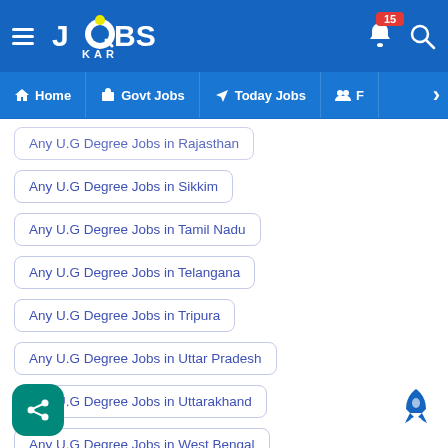[Figure (screenshot): JobsKar mobile app header with hamburger menu, logo, notification bell with badge 15, and search icon]
Home | Govt Jobs | Today Jobs | F >
Any U.G Degree Jobs in Rajasthan
Any U.G Degree Jobs in Sikkim
Any U.G Degree Jobs in Tamil Nadu
Any U.G Degree Jobs in Telangana
Any U.G Degree Jobs in Tripura
Any U.G Degree Jobs in Uttar Pradesh
Any U.G Degree Jobs in Uttarakhand
Any U.G Degree Jobs in West Bengal